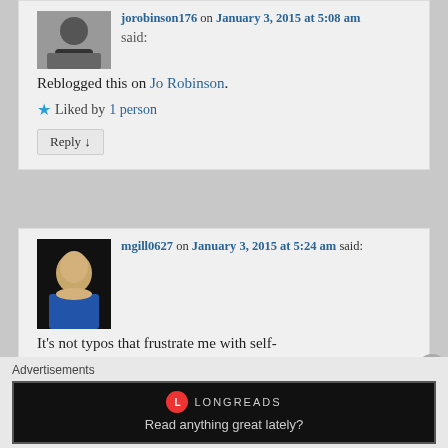[Figure (photo): Profile photo of jorobinson176, woman at desk]
jorobinson176 on January 3, 2015 at 5:08 am said:
Reblogged this on Jo Robinson.
★ Liked by 1 person
Reply ↓
[Figure (photo): Profile photo of mgill0627, woman in blue top]
mgill0627 on January 3, 2015 at 5:24 am said:
It's not typos that frustrate me with self-
Advertisements
[Figure (other): Longreads advertisement banner: Read anything great lately?]